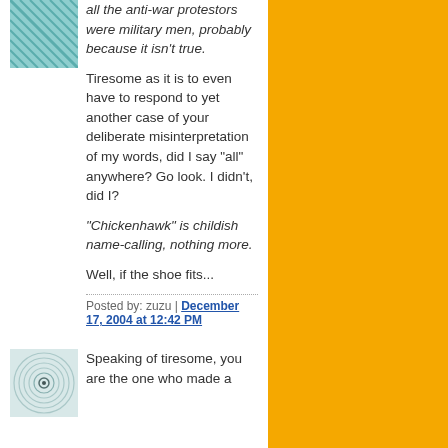all the anti-war protestors were military men, probably because it isn't true.
Tiresome as it is to even have to respond to yet another case of your deliberate misinterpretation of my words, did I say "all" anywhere? Go look. I didn't, did I?
"Chickenhawk" is childish name-calling, nothing more.
Well, if the shoe fits...
Posted by: zuzu | December 17, 2004 at 12:42 PM
Speaking of tiresome, you are the one who made a